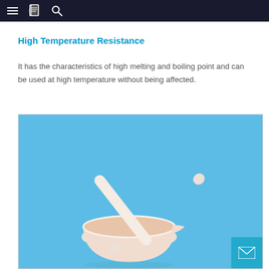≡ [book icon] 🔍
High Temperature Resistance
It has the characteristics of high melting and boiling point and can be used at high temperature without being affected.
[Figure (photo): A white ceramic mortar and pestle on a light blue background, viewed from above at an angle. The pestle is resting diagonally in the mortar which has a small spout.]